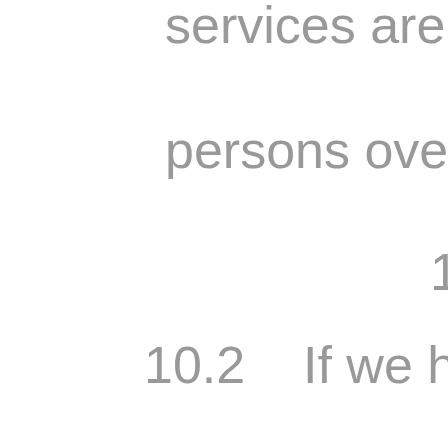services are targeted at persons over the age of 18. 10.2 If we have reason to believe that personal data of